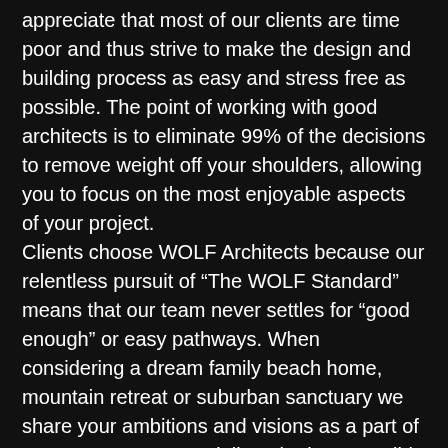appreciate that most of our clients are time poor and thus strive to make the design and building process as easy and stress free as possible. The point of working with good architects is to eliminate 99% of the decisions to remove weight off your shoulders, allowing you to focus on the most enjoyable aspects of your project.
Clients choose WOLF Architects because our relentless pursuit of “The WOLF Standard” means that our team never settles for “good enough” or easy pathways. When considering a dream family beach home, mountain retreat or suburban sanctuary we share your ambitions and visions as a part of our own. We want to deliver the best possible results within all given constraints. Regardless of size, budget and location, it’s more about understanding that everyone’s home is important in its’ own way. We don’t live in the